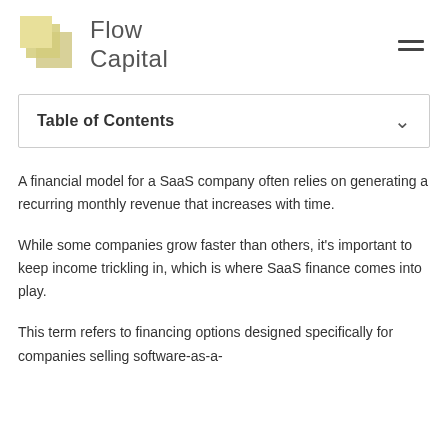Flow Capital
Table of Contents
A financial model for a SaaS company often relies on generating a recurring monthly revenue that increases with time.
While some companies grow faster than others, it's important to keep income trickling in, which is where SaaS finance comes into play.
This term refers to financing options designed specifically for companies selling software-as-a-